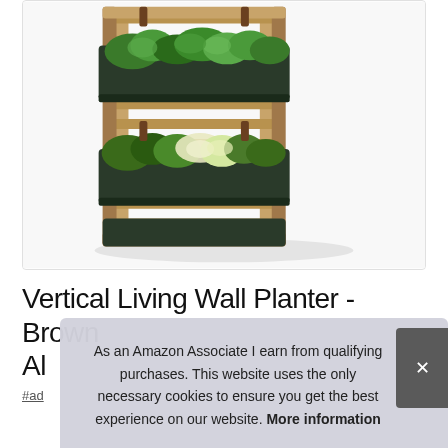[Figure (photo): A vertical living wall planter with a natural wood frame and dark green plastic troughs. The planter has three horizontal tiers with lush green plants and herbs growing in each. It is mounted on a white background.]
Vertical Living Wall Planter - Brown Al
#ad
As an Amazon Associate I earn from qualifying purchases. This website uses the only necessary cookies to ensure you get the best experience on our website. More information